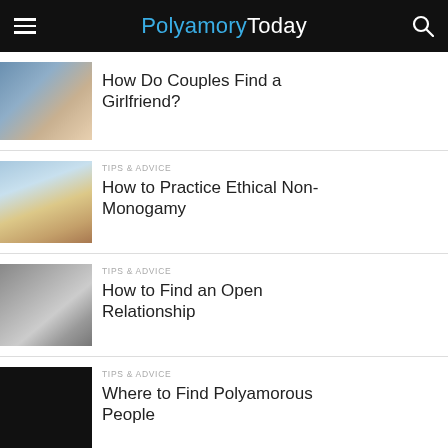PolyamoryToday
How Do Couples Find a Girlfriend?
TIPS & ADVICE
How to Practice Ethical Non-Monogamy
TIPS & ADVICE
How to Find an Open Relationship
TIPS & ADVICE
Where to Find Polyamorous People